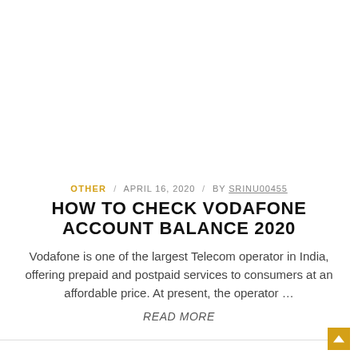OTHER / APRIL 16, 2020 / BY SRINU00455
HOW TO CHECK VODAFONE ACCOUNT BALANCE 2020
Vodafone is one of the largest Telecom operator in India, offering prepaid and postpaid services to consumers at an affordable price. At present, the operator …
READ MORE